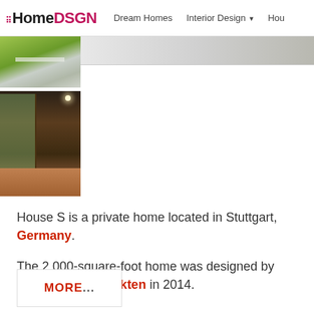HomeDSGN  Dream Homes  Interior Design  Hou
[Figure (photo): Thumbnail of green grass/garden area with gray path, viewed from above]
[Figure (photo): Thumbnail of interior room with dark wood walls, floor-to-ceiling windows, and hardwood floor]
House S is a private home located in Stuttgart, Germany.
The 2,000-square-foot home was designed by Behnisch Architekten in 2014.
MORE...